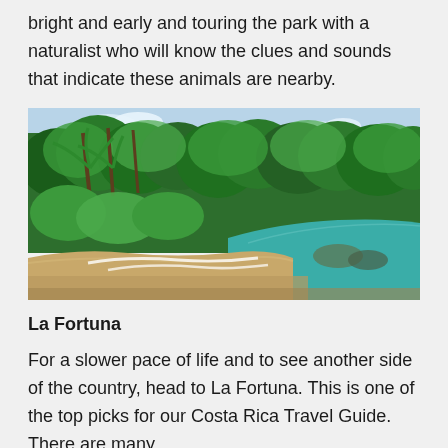bright and early and touring the park with a naturalist who will know the clues and sounds that indicate these animals are nearby.
[Figure (photo): A tropical beach scene with lush green jungle and palm trees in the background, with a sandy beach and gentle waves from turquoise water in the foreground.]
La Fortuna
For a slower pace of life and to see another side of the country, head to La Fortuna. This is one of the top picks for our Costa Rica Travel Guide. There are many